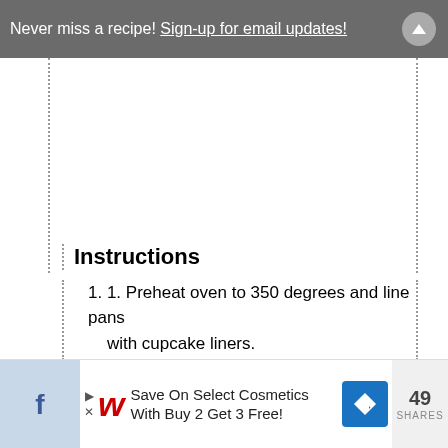Never miss a recipe! Sign-up for email updates!
[Figure (other): White empty content area with dotted left and right borders]
Instructions
1. 1. Preheat oven to 350 degrees and line pans with cupcake liners.
[Figure (other): Advertisement banner: Save On Select Cosmetics With Buy 2 Get 3 Free! Walgreens ad with Facebook share icon showing 49 SHARES]